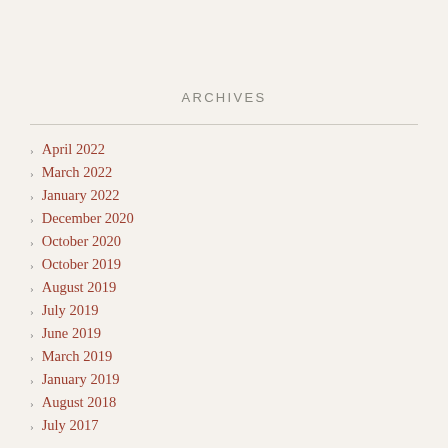ARCHIVES
April 2022
March 2022
January 2022
December 2020
October 2020
October 2019
August 2019
July 2019
June 2019
March 2019
January 2019
August 2018
July 2017